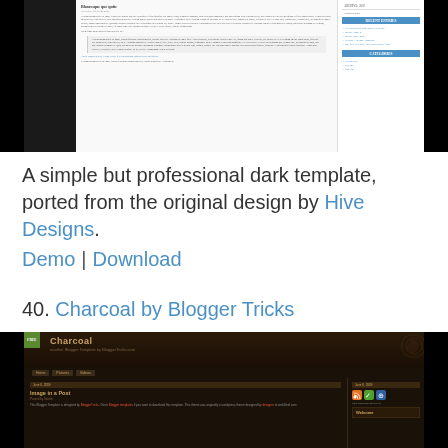[Figure (screenshot): Screenshot of a dark blogger template with white content area, left dark sidebar, and right sidebar showing Recent Entries and Categories sections]
A simple but professional dark template, ported from the original design by Hive Designs.
Demo | Download
40. Charcoal by Blogger Tricks
[Figure (screenshot): Screenshot of Charcoal Blogger template with dark brown background, ornate decorative elements, navigation bar, and post content area]